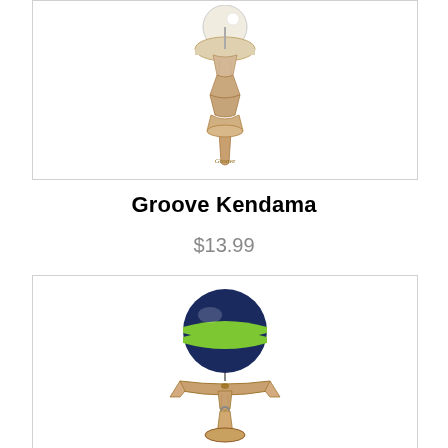[Figure (photo): Groove Kendama toy - natural wood kendama with white ball, top view, handle pointing down]
Groove Kendama
$13.99
[Figure (photo): Groove Kendama toy - navy blue and green striped ball on natural wood ken/handle]